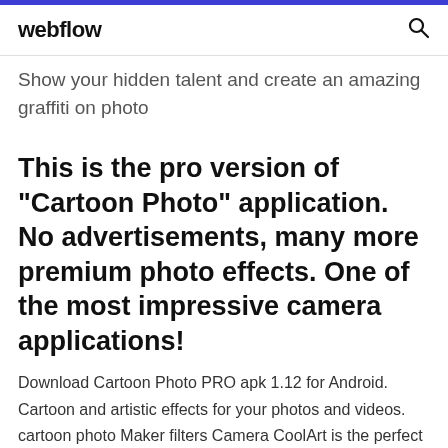webflow
Show your hidden talent and create an amazing graffiti on photo
This is the pro version of "Cartoon Photo" application. No advertisements, many more premium photo effects. One of the most impressive camera applications!
Download Cartoon Photo PRO apk 1.12 for Android. Cartoon and artistic effects for your photos and videos. cartoon photo Maker filters Camera CoolArt is the perfect fun and creative